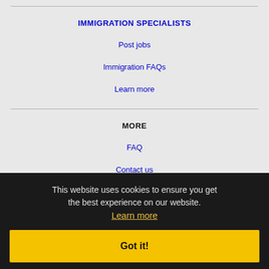IMMIGRATION SPECIALISTS
Post jobs
Immigration FAQs
Learn more
MORE
FAQ
Contact us
This website uses cookies to ensure you get the best experience on our website.
Learn more
Got it!
NEARBY CITIES
Avondale, AZ Jobs
Buckeye, AZ Jobs